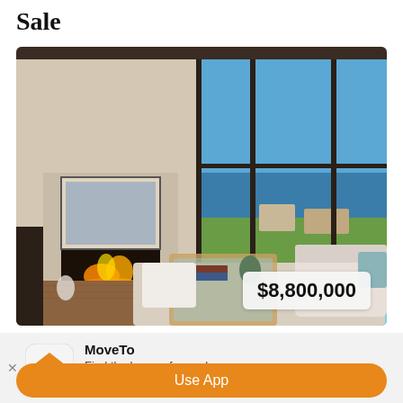Sale
[Figure (photo): Interior of a luxury home living room with large floor-to-ceiling windows overlooking the ocean, a fireplace, modern furniture, and an ocean view. Price badge shows $8,800,000.]
MoveTo
Find the home of your dreams.
★★★★☆
Use App